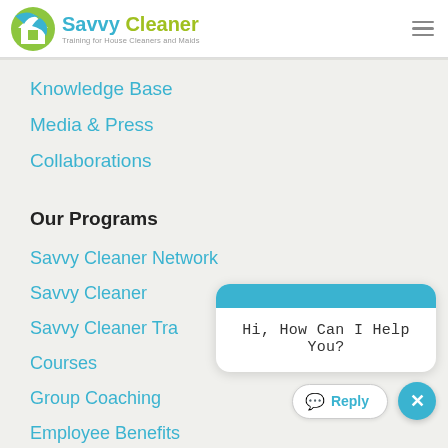[Figure (logo): Savvy Cleaner logo with house icon, blue and green colors, tagline: Training for House Cleaners and Maids]
Knowledge Base
Media & Press
Collaborations
Our Programs
Savvy Cleaner Network
Savvy Cleaner
Savvy Cleaner Tra…
Courses
Group Coaching
Employee Benefits
[Figure (screenshot): Chat widget popup with blue header, message 'Hi, How Can I Help You?', Reply button, and close X button. Three avatar photos of women overlapping.]